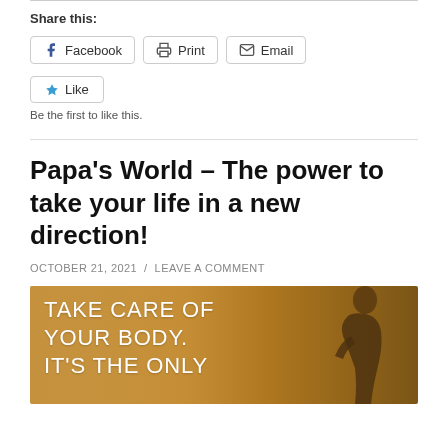Share this:
Facebook
Print
Email
Like
Be the first to like this.
Papa’s World – The power to take your life in a new direction!
OCTOBER 21, 2021 / LEAVE A COMMENT
[Figure (photo): Motivational image with text 'TAKE CARE OF YOUR BODY. IT’S THE ONLY' on a warm golden background with a silhouette of a person]